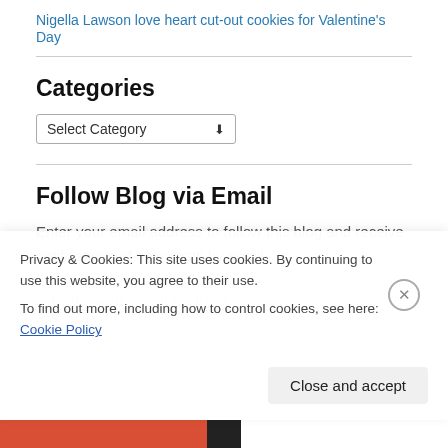Nigella Lawson love heart cut-out cookies for Valentine's Day
Categories
[Figure (other): Dropdown selector widget labeled 'Select Category' with a downward arrow]
Follow Blog via Email
Enter your email address to follow this blog and receive notifications of new posts by email.
[Figure (other): Text input field with placeholder 'Enter your email address']
Privacy & Cookies: This site uses cookies. By continuing to use this website, you agree to their use.
To find out more, including how to control cookies, see here: Cookie Policy